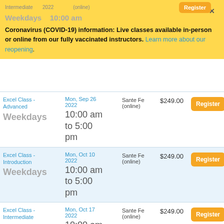Coronavirus (COVID-19) information: Live classes available in-person or online from our fully vaccinated instructors. Learn more about our reopening.
| Course | Date/Time | Location | Price | Action |
| --- | --- | --- | --- | --- |
| Excel Class - Advanced
Weekdays | Mon, Sep 26 2022
10:00 am to 5:00 pm | Sante Fe (online) | $249.00 | Register |
| Excel Class - Introduction
Weekdays | Mon, Oct 10 2022
10:00 am to 5:00 pm | Sante Fe (online) | $249.00 | Register |
| Excel Class - Intermediate
Weekdays | Mon, Oct 17 2022
10:00 am to 5:00 pm | Sante Fe (online) | $249.00 | Register |
| Excel Class - Advanced
Weekdays | Mon, Oct 24 2022
10:00 am to 5:00 | Sante Fe (online) | $249.00 | Register |